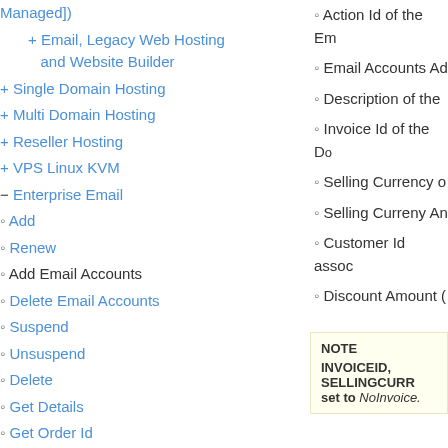Managed])
Email, Legacy Web Hosting and Website Builder
Single Domain Hosting
Multi Domain Hosting
Reseller Hosting
VPS Linux KVM
Enterprise Email
Add
Renew
Add Email Accounts
Delete Email Accounts
Suspend
Unsuspend
Delete
Get Details
Get Order Id
Search Orders
Action Id of the Em
Email Accounts Ad
Description of the
Invoice Id of the Do
Selling Currency o
Selling Curreny An
Customer Id assoc
Discount Amount (
NOTE
INVOICEID, SELLINGCURR...
set to NoInvoice.